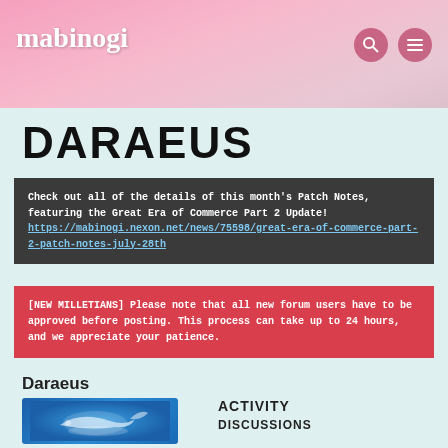mabinogi
DARAEUS
Check out all of the details of this month's Patch Notes, featuring the Great Era of Commerce Part 2 Update! https://mabinogi.nexon.net/news/75598/great-era-of-commerce-part-2-patch-notes-july-28th
[NEW MILLETIANS] Please note that all new forum users have to be approved before posting. This process can take up to 24 hours, and we appreciate your patience.
If this is your first visit, be sure to check out the Nexon Forums Code of Conduct. You have to register before you can post, so you can log in or create a forum name above to proceed. Thank you for your visit!
Daraeus
ACTIVITY
DISCUSSIONS
[Figure (illustration): Blue background with dolphin/fish silhouette image for Daraeus server]